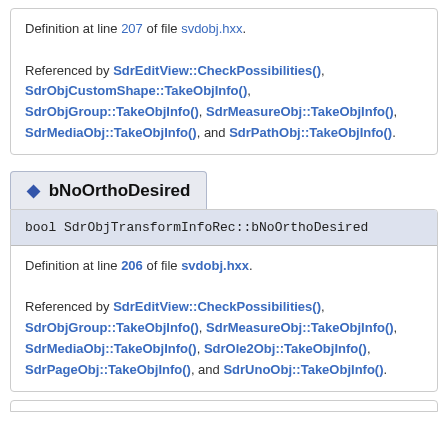Definition at line 207 of file svdobj.hxx. Referenced by SdrEditView::CheckPossibilities(), SdrObjCustomShape::TakeObjInfo(), SdrObjGroup::TakeObjInfo(), SdrMeasureObj::TakeObjInfo(), SdrMediaObj::TakeObjInfo(), and SdrPathObj::TakeObjInfo().
bNoOrthoDesired
bool SdrObjTransformInfoRec::bNoOrthoDesired
Definition at line 206 of file svdobj.hxx. Referenced by SdrEditView::CheckPossibilities(), SdrObjGroup::TakeObjInfo(), SdrMeasureObj::TakeObjInfo(), SdrMediaObj::TakeObjInfo(), SdrOle2Obj::TakeObjInfo(), SdrPageObj::TakeObjInfo(), and SdrUnoObj::TakeObjInfo().